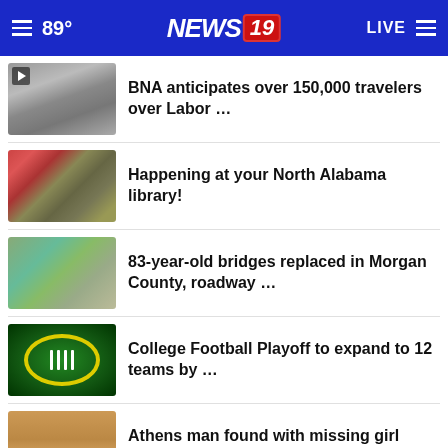89° NEWS 19 LIVE
BNA anticipates over 150,000 travelers over Labor …
Happening at your North Alabama library!
83-year-old bridges replaced in Morgan County, roadway …
College Football Playoff to expand to 12 teams by …
Athens man found with missing girl released from …
More Stories ›